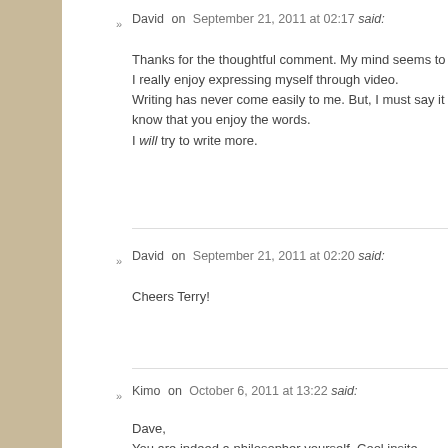David on September 21, 2011 at 02:17 said:
Thanks for the thoughtful comment. My mind seems to I really enjoy expressing myself through video. Writing has never come easily to me. But, I must say it know that you enjoy the words. I will try to write more.
David on September 21, 2011 at 02:20 said:
Cheers Terry!
Kimo on October 6, 2011 at 13:22 said:
Dave,
You are indeed a philosopher yourself. Cool insite.